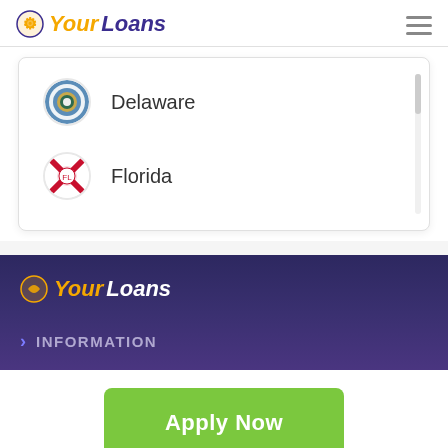YourLoans
Delaware
Florida
[Figure (logo): YourLoans logo in white on dark background]
INFORMATION
Apply Now
Applying does NOT affect your credit score!
No credit check to apply.